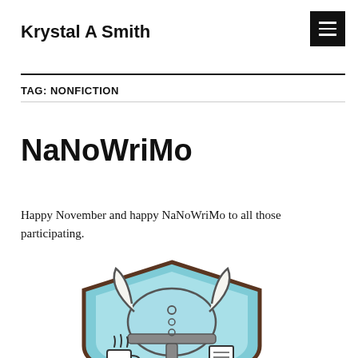Krystal A Smith
TAG: NONFICTION
NaNoWriMo
Happy November and happy NaNoWriMo to all those participating.
[Figure (illustration): NaNoWriMo logo illustration: a Viking helmet (light blue) with horns on a shield shape (brown and blue), with a steaming coffee cup on the left and a document/paper on the right.]